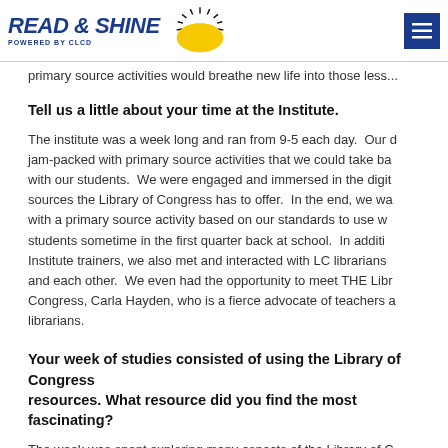READ & SHINE POWERED BY CLCD
primary source activities would breathe new life into those less...
Tell us a little about your time at the Institute.
The institute was a week long and ran from 9-5 each day. Our d... jam-packed with primary source activities that we could take ba... with our students. We were engaged and immersed in the digi... sources the Library of Congress has to offer. In the end, we wa... with a primary source activity based on our standards to use w... students sometime in the first quarter back at school. In additi... Institute trainers, we also met and interacted with LC librarians... and each other. We even had the opportunity to meet THE Libr... Congress, Carla Hayden, who is a fierce advocate of teachers a... librarians.
Your week of studies consisted of using the Library of Congress resources. What resource did you find the most fascinating?
The week was spent exploring many aspects of the Library of C...